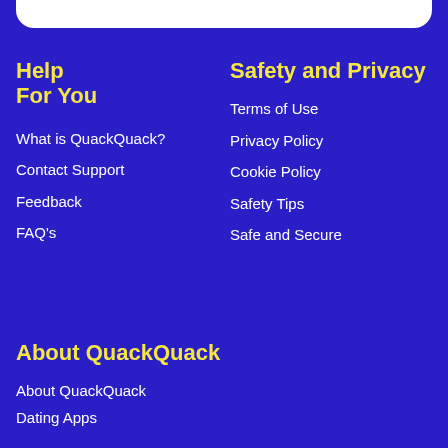Help
For You
What is QuackQuack?
Contact Support
Feedback
FAQ's
Safety and Privacy
Terms of Use
Privacy Policy
Cookie Policy
Safety Tips
Safe and Secure
About QuackQuack
About QuackQuack
Dating Apps